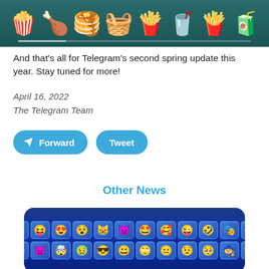[Figure (photo): Banner image showing food emojis (popcorn, drumstick, pancakes, basket, fries, drink) on a dark teal background with a scrollbar at the bottom]
And that's all for Telegram's second spring update this year. Stay tuned for more!
April 16, 2022
The Telegram Team
[Figure (infographic): Two rounded blue buttons: a Forward button with Telegram arrow icon, and a Tweet button]
Other News
[Figure (screenshot): Blue dark background with a grid of emoji sticker tiles arranged in two rows, showing various colorful emoji faces and characters]